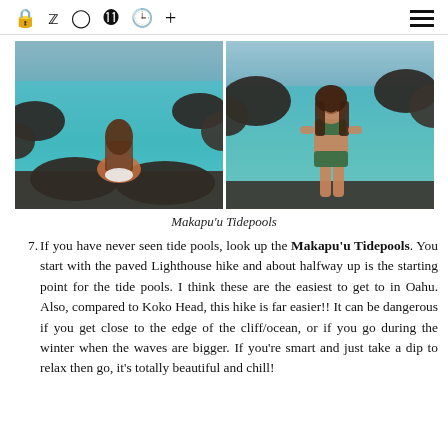🔒 🐦 📷 📌 📘 + ≡
[Figure (photo): Two photos side by side of Makapu'u Tidepools in Hawaii. Left photo shows a woman in a white bikini sitting on a rock facing the turquoise tidal pools with dark lava rocks surrounding. Right photo shows a woman in a dark green bikini standing and smiling at the tidal pools with rocky coastline in background.]
Makapu'u Tidepools
If you have never seen tide pools, look up the Makapu'u Tidepools. You start with the paved Lighthouse hike and about halfway up is the starting point for the tide pools. I think these are the easiest to get to in Oahu. Also, compared to Koko Head, this hike is far easier!! It can be dangerous if you get close to the edge of the cliff/ocean, or if you go during the winter when the waves are bigger. If you're smart and just take a dip to relax then go, it's totally beautiful and chill!